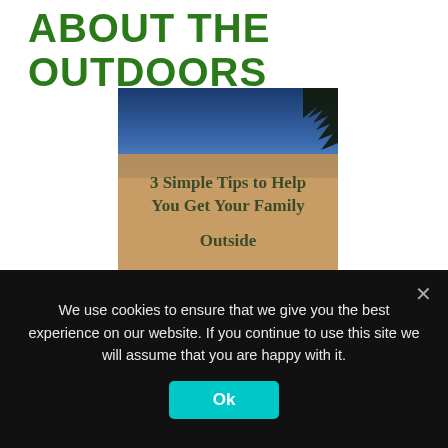ABOUT THE OUTDOORS
[Figure (illustration): Book cover image showing '3 Simple Tips to Help You Get Your Family Outside' with a family camping at sunset with a teal tent, silhouetted against a golden sky over water.]
We use cookies to ensure that we give you the best experience on our website. If you continue to use this site we will assume that you are happy with it.